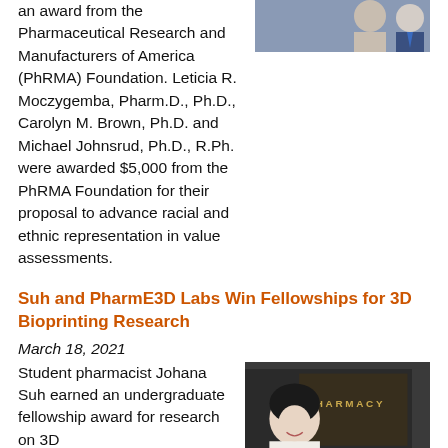an award from the Pharmaceutical Research and Manufacturers of America (PhRMA) Foundation. Leticia R. Moczygemba, Pharm.D., Ph.D., Carolyn M. Brown, Ph.D. and Michael Johnsrud, Ph.D., R.Ph. were awarded $5,000 from the PhRMA Foundation for their proposal to advance racial and ethnic representation in value assessments.
[Figure (photo): Partial photo of two people in formal attire]
Suh and PharmE3D Labs Win Fellowships for 3D Bioprinting Research
March 18, 2021
Student pharmacist Johana Suh earned an undergraduate fellowship award for research on 3D bioprinted modeling of the neurodegenerative disease NPC-1, or Niemann-Pick disease type C1. Suh is a second-year Doctor of Pharmacy candidate in the UT College of Pharmacy, and serves as an undergraduate
[Figure (photo): Young woman smiling in front of a dark background with PHARMACY text in gold letters]